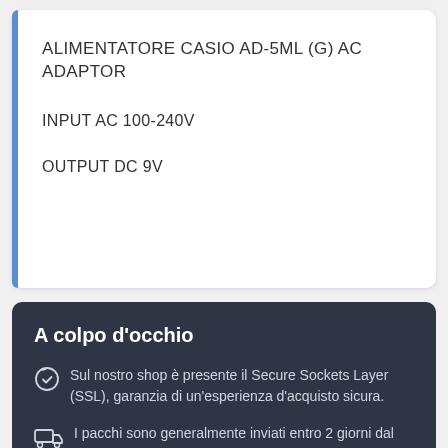ALIMENTATORE CASIO AD-5ML (G) AC ADAPTOR
INPUT AC 100-240V
OUTPUT DC 9V
A colpo d'occhio
Sul nostro shop è presente il Secure Sockets Layer (SSL), garanzia di un'esperienza d'acquisto sicura.
I pacchi sono generalmente inviati entro 2 giorni dal ricevimento del pagamento e vengono spediti